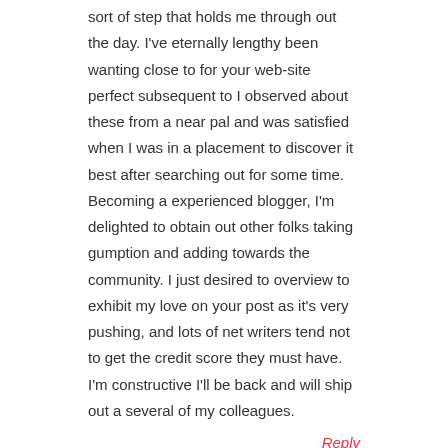sort of step that holds me through out the day. I've eternally lengthy been wanting close to for your web-site perfect subsequent to I observed about these from a near pal and was satisfied when I was in a placement to discover it best after searching out for some time. Becoming a experienced blogger, I'm delighted to obtain out other folks taking gumption and adding towards the community. I just desired to overview to exhibit my love on your post as it's very pushing, and lots of net writers tend not to get the credit score they must have. I'm constructive I'll be back and will ship out a several of my colleagues.
Reply
PIANINO STROJENIE KOŁOBRZEG
JULY 13, 2021 AT 9:11 AM